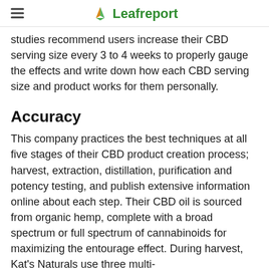Leafreport
studies recommend users increase their CBD serving size every 3 to 4 weeks to properly gauge the effects and write down how each CBD serving size and product works for them personally.
Accuracy
This company practices the best techniques at all five stages of their CBD product creation process; harvest, extraction, distillation, purification and potency testing, and publish extensive information online about each step. Their CBD oil is sourced from organic hemp, complete with a broad spectrum or full spectrum of cannabinoids for maximizing the entourage effect. During harvest, Kat's Naturals use three multi-